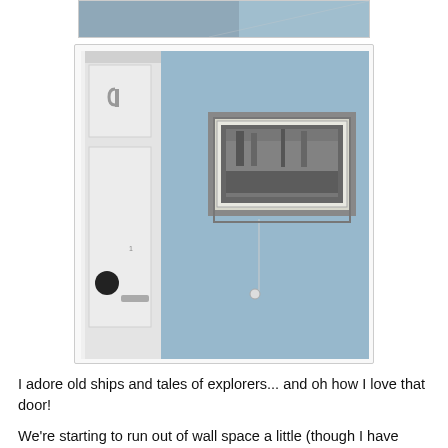[Figure (photo): Partial view of a white door with black knob against a light blue wall, with a framed black-and-white photograph hanging on the wall]
I adore old ships and tales of explorers... and oh how I love that door!
We're starting to run out of wall space a little (though I have